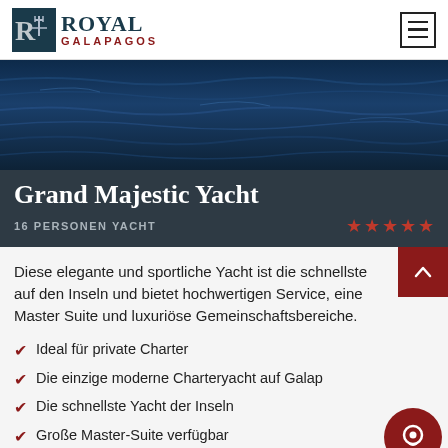Royal Galapagos
[Figure (photo): Ocean water surface with dark blue waves, hero image for Grand Majestic Yacht]
Grand Majestic Yacht
16 PERSONEN YACHT
Diese elegante und sportliche Yacht ist die schnellste auf den Inseln und bietet hochwertigen Service, eine Master Suite und luxuriöse Gemeinschaftsbereiche.
Ideal für private Charter
Die einzige moderne Charteryacht auf Galap…
Die schnellste Yacht der Inseln
Große Master-Suite verfügbar